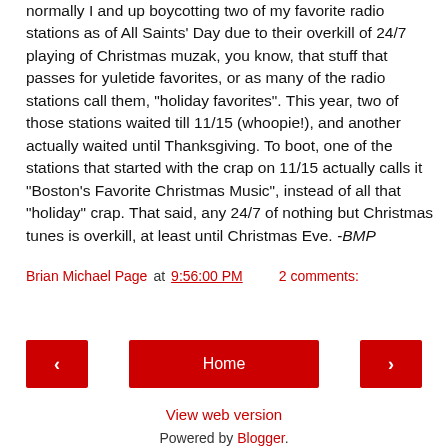normally I and up boycotting two of my favorite radio stations as of All Saints' Day due to their overkill of 24/7 playing of Christmas muzak, you know, that stuff that passes for yuletide favorites, or as many of the radio stations call them, "holiday favorites". This year, two of those stations waited till 11/15 (whoopie!), and another actually waited until Thanksgiving. To boot, one of the stations that started with the crap on 11/15 actually calls it "Boston's Favorite Christmas Music", instead of all that "holiday" crap. That said, any 24/7 of nothing but Christmas tunes is overkill, at least until Christmas Eve. -BMP
Brian Michael Page at 9:56:00 PM   2 comments:
Share
Home
View web version
Powered by Blogger.